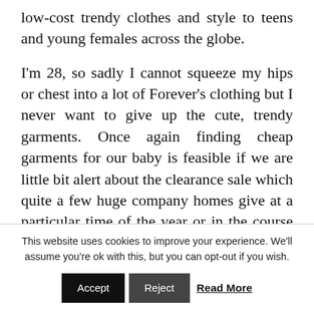low-cost trendy clothes and style to teens and young females across the globe.
I'm 28, so sadly I cannot squeeze my hips or chest into a lot of Forever's clothing but I never want to give up the cute, trendy garments. Once again finding cheap garments for our baby is feasible if we are little bit alert about the clearance sale which quite a few huge company homes give at a particular time of the year or in the course of the festival occasion. It is fantastic
This website uses cookies to improve your experience. We'll assume you're ok with this, but you can opt-out if you wish.